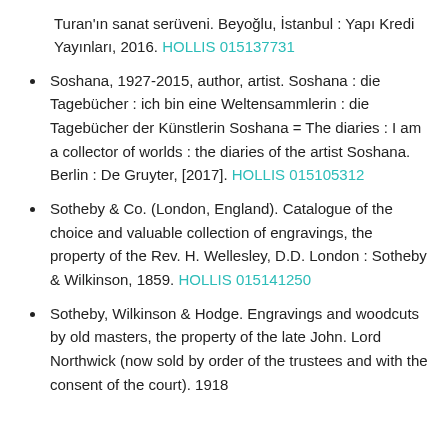Turan'ın sanat serüveni. Beyoğlu, İstanbul : Yapı Kredi Yayınları, 2016. HOLLIS 015137731
Soshana, 1927-2015, author, artist. Soshana : die Tagebücher : ich bin eine Weltensammlerin : die Tagebücher der Künstlerin Soshana = The diaries : I am a collector of worlds : the diaries of the artist Soshana. Berlin : De Gruyter, [2017]. HOLLIS 015105312
Sotheby & Co. (London, England). Catalogue of the choice and valuable collection of engravings, the property of the Rev. H. Wellesley, D.D. London : Sotheby & Wilkinson, 1859. HOLLIS 015141250
Sotheby, Wilkinson & Hodge. Engravings and woodcuts by old masters, the property of the late John. Lord Northwick (now sold by order of the trustees and with the consent of the court). 1918